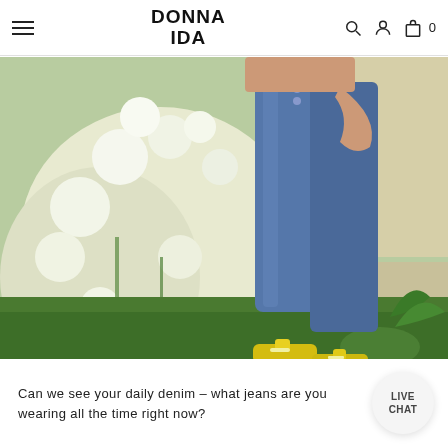DONNA IDA
[Figure (photo): Woman wearing blue skinny jeans with button fly and yellow loafers, standing in a garden with white flowering bushes and green grass, cropped to show torso and legs only.]
Can we see your daily denim – what jeans are you wearing all the time right now?